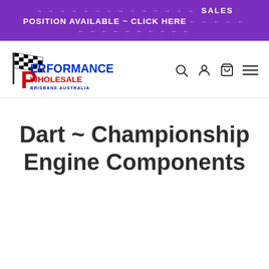→ → → → → → → → → → → → → → → SALES POSITION AVAILABLE ~ CLICK HERE ← ← ← ← ← ← ← ← ← ←
[Figure (logo): Performance Wholesale Brisbane Australia logo with checkered flag, blue and red text]
Dart ~ Championship Engine Components